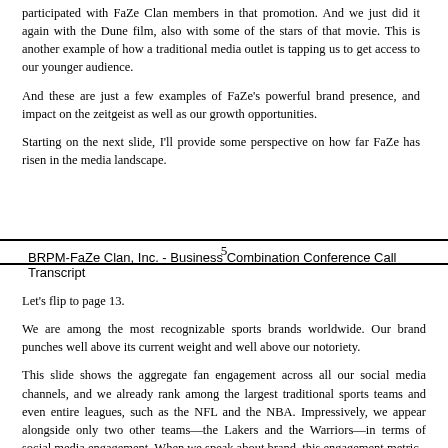participated with FaZe Clan members in that promotion. And we just did it again with the Dune film, also with some of the stars of that movie. This is another example of how a traditional media outlet is tapping us to get access to our younger audience.
And these are just a few examples of FaZe's powerful brand presence, and impact on the zeitgeist as well as our growth opportunities.
Starting on the next slide, I'll provide some perspective on how far FaZe has risen in the media landscape.
5
BRPM-FaZe Clan, Inc. - Business Combination Conference Call Transcript
Let's flip to page 13.
We are among the most recognizable sports brands worldwide. Our brand punches well above its current weight and well above our notoriety.
This slide shows the aggregate fan engagement across all our social media channels, and we already rank among the largest traditional sports teams and even entire leagues, such as the NFL and the NBA. Impressively, we appear alongside only two other teams—the Lakers and the Warriors—in terms of social media engagement. When we speak about brand, this engagement metric